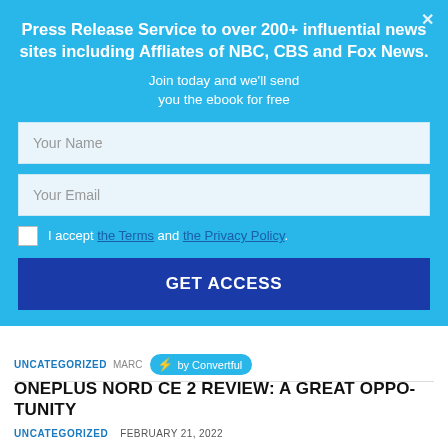Press Release Service to over 200+ influential news sites including Affliates of NBC, CBS and Fox News.
Join today and we'll send you the ebook for free
[Figure (screenshot): Web form with Your Name and Your Email input fields, a checkbox for accepting Terms and Privacy Policy, and a GET ACCESS button]
I accept the Terms and the Privacy Policy.
GET ACCESS
UNCATEGORIZED   MARC   ⚡ by Convertful
ONEPLUS NORD CE 2 REVIEW: A GREAT OPPO-TUNITY
UNCATEGORIZED   FEBRUARY 21, 2022